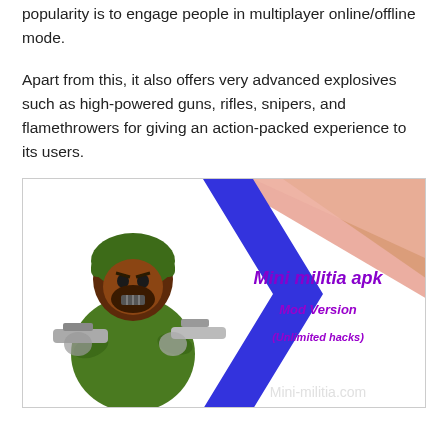popularity is to engage people in multiplayer online/offline mode.
Apart from this, it also offers very advanced explosives such as high-powered guns, rifles, snipers, and flamethrowers for giving an action-packed experience to its users.
[Figure (illustration): Mini militia apk Mod Version (Unlimited hacks) promotional image showing a cartoon soldier character holding guns on the left, with a blue geometric chevron divider, and text on the right reading 'Mini militia apk', 'Mod Version', '(Unlimited hacks)' in purple, with a watermark 'Mini-militia.com' at the bottom.]